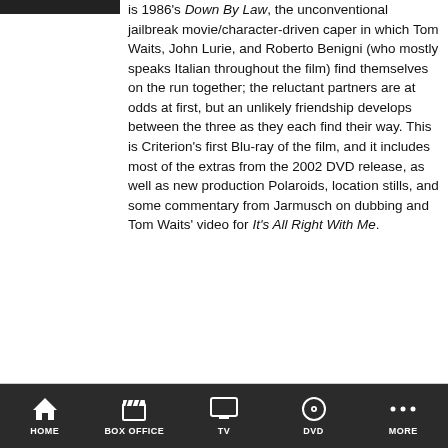[Figure (photo): Partial view of a movie cover/DVD image, mostly cropped, showing a dark/blue graphic at the top left corner]
is 1986's Down By Law, the unconventional jailbreak movie/character-driven caper in which Tom Waits, John Lurie, and Roberto Benigni (who mostly speaks Italian throughout the film) find themselves on the run together; the reluctant partners are at odds at first, but an unlikely friendship develops between the three as they each find their way. This is Criterion's first Blu-ray of the film, and it includes most of the extras from the 2002 DVD release, as well as new production Polaroids, location stills, and some commentary from Jarmusch on dubbing and Tom Waits' video for It's All Right With Me.
HOME  BOX OFFICE  TV  DVD  MORE